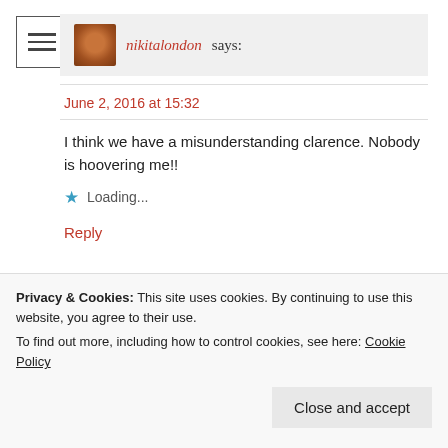[Figure (other): Hamburger menu icon with three horizontal lines inside a square border]
nikitalondon says:
June 2, 2016 at 15:32
I think we have a misunderstanding clarence. Nobody is hoovering me!!
Loading...
Reply
mlaclarece says:
June 2, 2016 at 16:11
Privacy & Cookies: This site uses cookies. By continuing to use this website, you agree to their use.
To find out more, including how to control cookies, see here: Cookie Policy
Close and accept